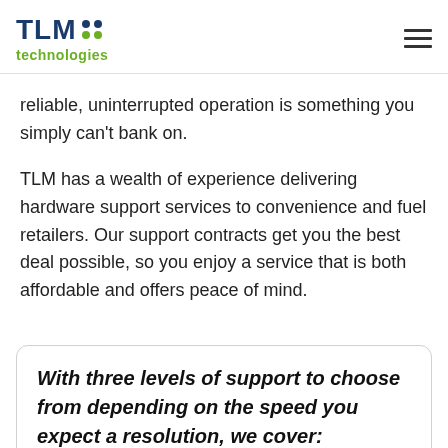TLM technologies
reliable, uninterrupted operation is something you simply can't bank on.
TLM has a wealth of experience delivering hardware support services to convenience and fuel retailers. Our support contracts get you the best deal possible, so you enjoy a service that is both affordable and offers peace of mind.
With three levels of support to choose from depending on the speed you expect a resolution, we cover: